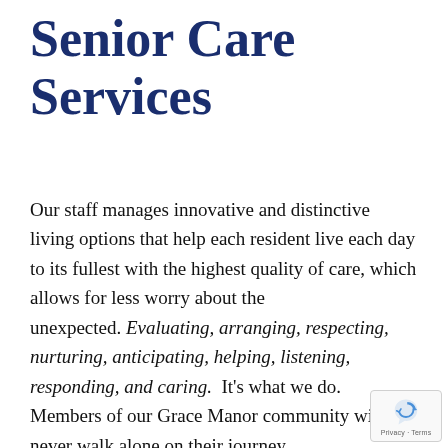Senior Care Services
Our staff manages innovative and distinctive living options that help each resident live each day to its fullest with the highest quality of care, which allows for less worry about the unexpected. Evaluating, arranging, respecting, nurturing, anticipating, helping, listening, responding, and caring. It's what we do. Members of our Grace Manor community will never walk alone on their journey.